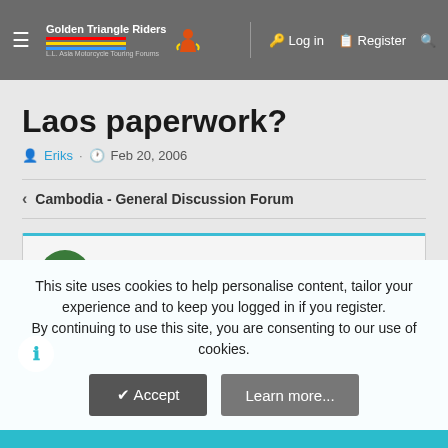Golden Triangle Riders — L.L. Asia Motorcycle Touring Forums | Log in | Register
Laos paperwork?
Eriks · Feb 20, 2006
Cambodia - General Discussion Forum
Eriks
New Member
This site uses cookies to help personalise content, tailor your experience and to keep you logged in if you register. By continuing to use this site, you are consenting to our use of cookies.